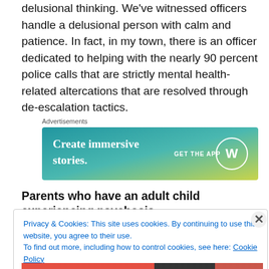delusional thinking. We've witnessed officers handle a delusional person with calm and patience. In fact, in my town, there is an officer dedicated to helping with the nearly 90 percent police calls that are strictly mental health-related altercations that are resolved through de-escalation tactics.
[Figure (other): Advertisement banner with gradient background (blue to yellow-green). Text reads 'Create immersive stories.' on the left, and 'GET THE APP' with WordPress logo on the right.]
Parents who have an adult child experiencing psychosis
Privacy & Cookies: This site uses cookies. By continuing to use this website, you agree to their use. To find out more, including how to control cookies, see here: Cookie Policy
Close and accept